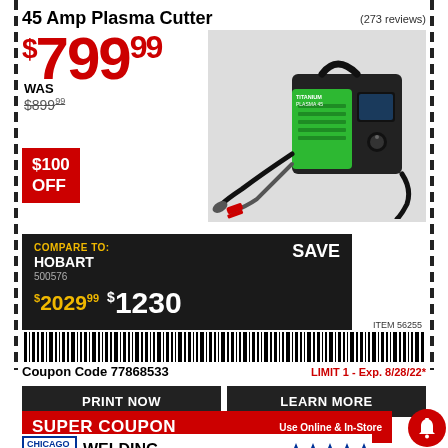45 Amp Plasma Cutter
(273 reviews)
$799.99
WAS $899.99
$100 OFF
[Figure (photo): Titanium Plasma 45 plasma cutter machine, green and black, with torch and clamp cables]
COMPARE TO: HOBART 500576 SAVE $2029.99 $1230
ITEM 56255
[Figure (other): Barcode for coupon]
Coupon Code 77868533
LIMIT 1 - Exp. 8/28/22*
PRINT NOW
LEARN MORE
SUPER COUPON Use Online & In-Store
CHICAGO ELECTRIC WELDING